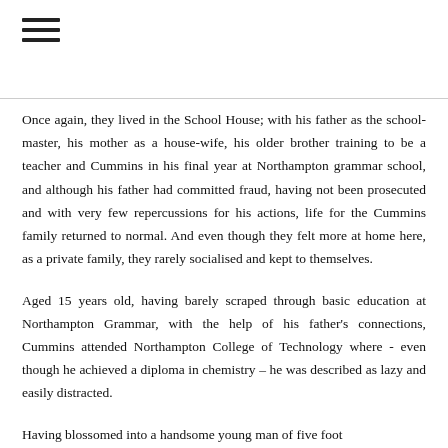≡
Once again, they lived in the School House; with his father as the school-master, his mother as a house-wife, his older brother training to be a teacher and Cummins in his final year at Northampton grammar school, and although his father had committed fraud, having not been prosecuted and with very few repercussions for his actions, life for the Cummins family returned to normal. And even though they felt more at home here, as a private family, they rarely socialised and kept to themselves.
Aged 15 years old, having barely scraped through basic education at Northampton Grammar, with the help of his father's connections, Cummins attended Northampton College of Technology where - even though he achieved a diploma in chemistry – he was described as lazy and easily distracted.
Having blossomed into a handsome young man of five foot